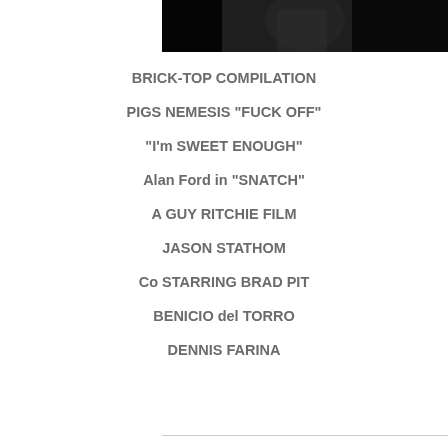[Figure (photo): Dark screenshot from the film Snatch showing a figure in dim lighting, cropped at top right of page]
BRICK-TOP COMPILATION
PIGS NEMESIS "FUCK OFF"
"I'm SWEET ENOUGH"
Alan Ford in "SNATCH"
A GUY RITCHIE FILM
JASON STATHOM
Co STARRING BRAD PIT
BENICIO del TORRO
DENNIS FARINA